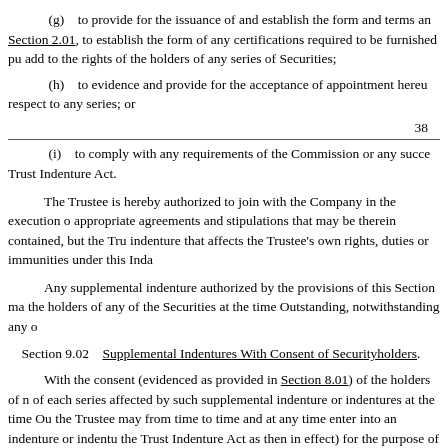(g)    to provide for the issuance of and establish the form and terms and conditions of the Securities of any series as permitted by Section 2.01, to establish the form of any certifications required to be furnished pursuant to the terms of this Indenture or any series of Securities, and to add to the rights of the holders of any series of Securities;
(h)    to evidence and provide for the acceptance of appointment hereunder by a successor Trustee with respect to any series; or
38
(i)    to comply with any requirements of the Commission or any successor thereto under the Trust Indenture Act.
The Trustee is hereby authorized to join with the Company in the execution of any such supplemental indenture, to make the further agreements and stipulations that may be therein contained, but the Trustee shall not be obligated to enter into any such supplemental indenture that affects the Trustee's own rights, duties or immunities under this Indenture or otherwise.
Any supplemental indenture authorized by the provisions of this Section may be executed without the consent of the holders of any of the Securities at the time Outstanding, notwithstanding any of the provisions of Section 8.02.
Section 9.02    Supplemental Indentures With Consent of Securityholders.
With the consent (evidenced as provided in Section 8.01) of the holders of not less than a majority in aggregate principal amount of the Securities of each series affected by such supplemental indenture or indentures at the time Outstanding, the Company, when authorized by a Board Resolution, and the Trustee may from time to time and at any time enter into an indenture or indentures supplemental hereto (which shall conform to the provisions of the Trust Indenture Act as then in effect) for the purpose of adding any provisions to or changing in any manner or eliminating any of the provisions of this Indenture or of any supplemental indenture or of modifying in any manner not covered by the next paragraph the rights of the holders of the Securities of such series under this Indenture; provided, however, that no such supplemental indenture shall,